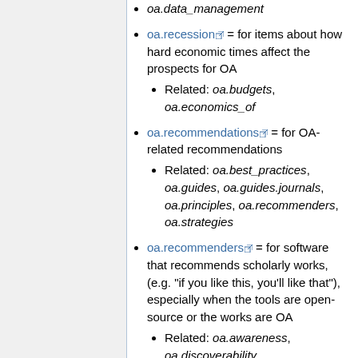oa.data_management
oa.recession = for items about how hard economic times affect the prospects for OA
Related: oa.budgets, oa.economics_of
oa.recommendations = for OA-related recommendations
Related: oa.best_practices, oa.guides, oa.guides.journals, oa.principles, oa.recommenders, oa.strategies
oa.recommenders = for software that recommends scholarly works, (e.g. "if you like this, you'll like that"), especially when the tools are open-source or the works are OA
Related: oa.awareness, oa.discoverability,